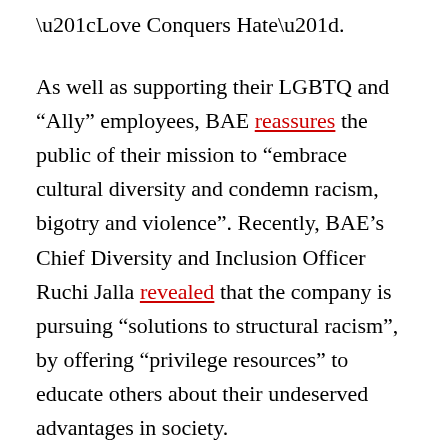“Love Conquers Hate”.
As well as supporting their LGBTQ and “Ally” employees, BAE reassures the public of their mission to “embrace cultural diversity and condemn racism, bigotry and violence”. Recently, BAE’s Chief Diversity and Inclusion Officer Ruchi Jalla revealed that the company is pursuing “solutions to structural racism”, by offering “privilege resources” to educate others about their undeserved advantages in society.
And yet, despite claiming to stand against